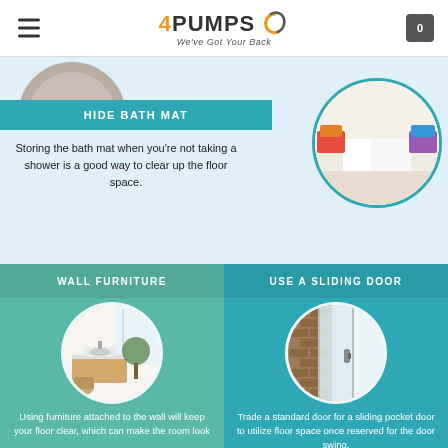4PUMPS — We've Got Your Back
[Figure (illustration): Partial circle image visible at top left, partially cut off]
HIDE BATH MAT
Storing the bath mat when you're not taking a shower is a good way to clear up the floor space.
[Figure (photo): Circular photo showing bathroom floor with colorful children's toys and bath mat stored against wall]
WALL FURNITURE
[Figure (photo): Circular photo of a modern bathroom with wall-mounted vanity and natural light]
Using furniture attached to the wall will keep your floor clear, which can make the room look
USE A SLIDING DOOR
[Figure (photo): Circular photo of a sliding glass/frosted door with brick tile wall]
Trade a standard door for a sliding pocket door to utilize floor space once reserved for the door swing.